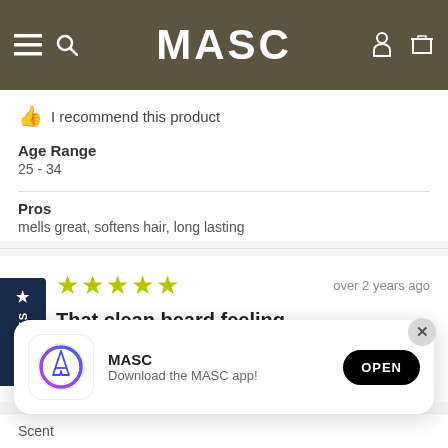MASC
I recommend this product
Age Range
25 - 34
Pros
Smells great, softens hair, long lasting
[Figure (screenshot): 5 yellow-green stars rating with 'over 2 years ago' timestamp]
That clean beard feeling
This brand was recommended to me by my barber and it has
[Figure (screenshot): MASC app download popup with App Store icon, MASC name, 'Download the MASC app!' description, and OPEN button]
Scent